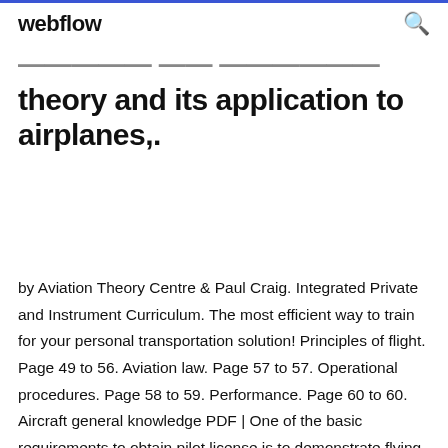webflow
theory and its application to airplanes,.
by Aviation Theory Centre & Paul Craig. Integrated Private and Instrument Curriculum. The most efficient way to train for your personal transportation solution! Principles of flight. Page 49 to 56. Aviation law. Page 57 to 57. Operational procedures. Page 58 to 59. Performance. Page 60 to 60. Aircraft general knowledge PDF | One of the basic requirements to obtain pilot license is to demonstrate flying skills as to Download full-text PDF actual piloting exercises were